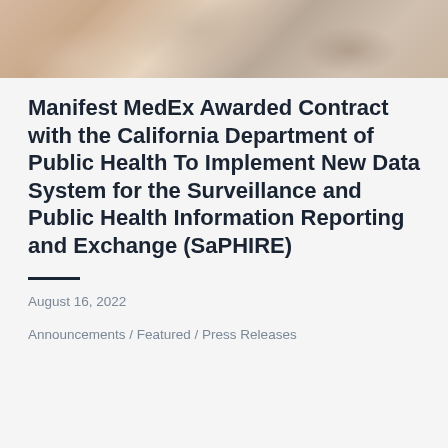[Figure (photo): Blurred photo of hands holding a device, visible at the top of the page]
Manifest MedEx Awarded Contract with the California Department of Public Health To Implement New Data System for the Surveillance and Public Health Information Reporting and Exchange (SaPHIRE)
August 16, 2022
Announcements / Featured / Press Releases